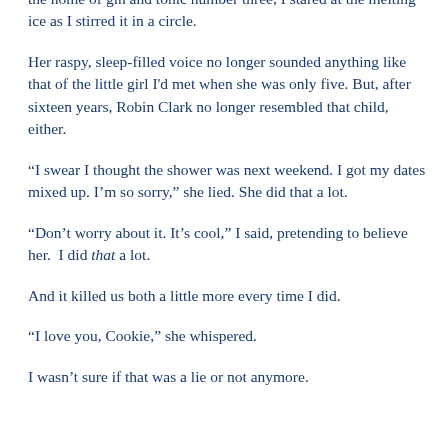the home of gin and tonic number three, I stared at the melting ice as I stirred it in a circle.
Her raspy, sleep-filled voice no longer sounded anything like that of the little girl I'd met when she was only five. But, after sixteen years, Robin Clark no longer resembled that child, either.
“I swear I thought the shower was next weekend. I got my dates mixed up. I’m so sorry,” she lied. She did that a lot.
“Don’t worry about it. It’s cool,” I said, pretending to believe her.  I did that a lot.
And it killed us both a little more every time I did.
“I love you, Cookie,” she whispered.
I wasn’t sure if that was a lie or not anymore.